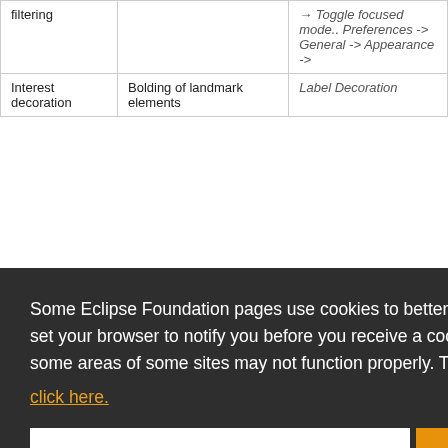| Feature | Description | Configuration |
| --- | --- | --- |
| filtering |  | → Toggle focused mode.. Preferences -> General -> Appearance -> |
| Interest decoration | Bolding of landmark elements | Label Decoration |
Some Eclipse Foundation pages use cookies to better serve you when you return to the site. You can set your browser to notify you before you receive a cookie or turn off cookies. If you do so, however, some areas of some sites may not function properly. To read Eclipse Foundation Privacy Policy click here.
Note: If you have turned on automatic focusing of...